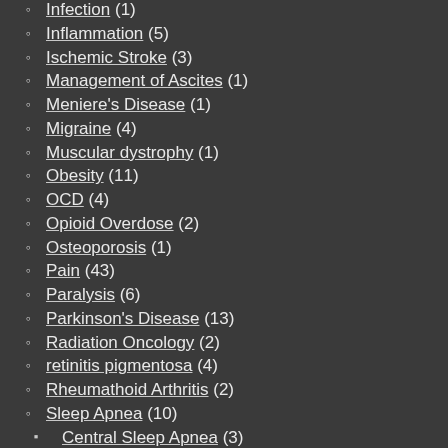Infection (1)
Inflammation (5)
Ischemic Stroke (3)
Management of Ascites (1)
Meniere's Disease (1)
Migraine (4)
Muscular dystrophy (1)
Obesity (11)
OCD (4)
Opioid Overdose (2)
Osteoporosis (1)
Pain (43)
Paralysis (6)
Parkinson's Disease (13)
Radiation Oncology (2)
retinitis pigmentosa (4)
Rheumathoid Arthritis (2)
Sleep Apnea (10)
Central Sleep Apnea (3)
Obstructive Sleep Apnea (5)
Spinal Cord Injury (SCI) (4)
Stroke (6)